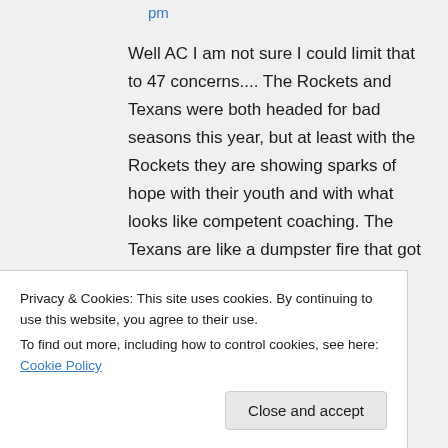pm
Well AC I am not sure I could limit that to 47 concerns....The Rockets and Texans were both headed for bad seasons this year, but at least with the Rockets they are showing sparks of hope with their youth and with what looks like competent coaching. The Texans are like a dumpster fire that got
Privacy & Cookies: This site uses cookies. By continuing to use this website, you agree to their use.
To find out more, including how to control cookies, see here: Cookie Policy
Close and accept